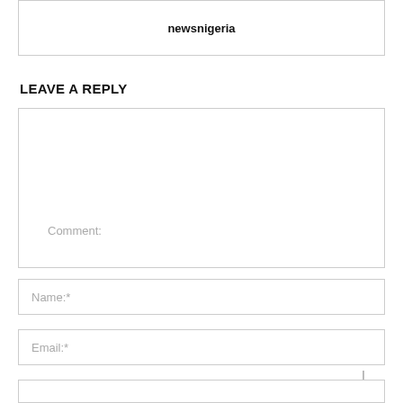newsnigeria
LEAVE A REPLY
Comment:
Name:*
Email:*